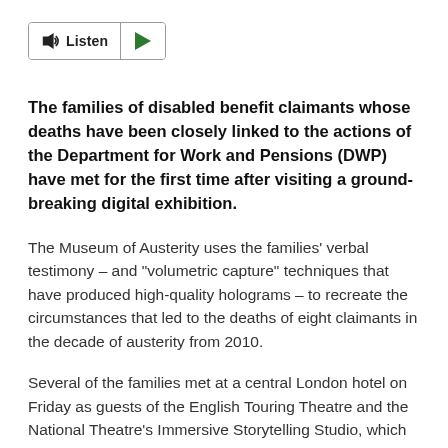[Figure (other): A Listen button with speaker icon and a green play arrow button]
The families of disabled benefit claimants whose deaths have been closely linked to the actions of the Department for Work and Pensions (DWP) have met for the first time after visiting a ground-breaking digital exhibition.
The Museum of Austerity uses the families' verbal testimony – and "volumetric capture" techniques that have produced high-quality holograms – to recreate the circumstances that led to the deaths of eight claimants in the decade of austerity from 2010.
Several of the families met at a central London hotel on Friday as guests of the English Touring Theatre and the National Theatre's Immersive Storytelling Studio, which have produced the exhibition.